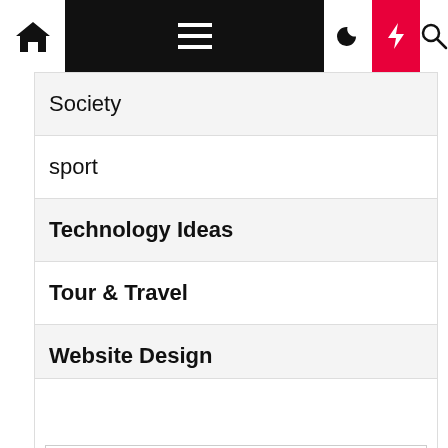Navigation bar with home icon, hamburger menu, moon icon, lightning bolt icon, search icon
Society
sport
Technology Ideas
Tour & Travel
Website Design
[Figure (other): Widget/ad box with an empty input field]
Visit Now
Additional content below Visit Now heading (partially visible)